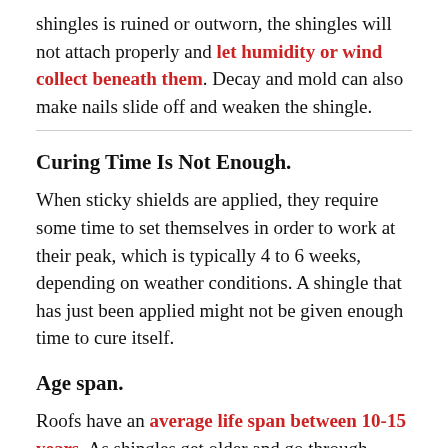shingles is ruined or outworn, the shingles will not attach properly and let humidity or wind collect beneath them. Decay and mold can also make nails slide off and weaken the shingle.
Curing Time Is Not Enough.
When sticky shields are applied, they require some time to set themselves in order to work at their peak, which is typically 4 to 6 weeks, depending on weather conditions. A shingle that has just been applied might not be given enough time to cure itself.
Age span.
Roofs have an average life span between 10-15 years. As shingles get older and go through years of